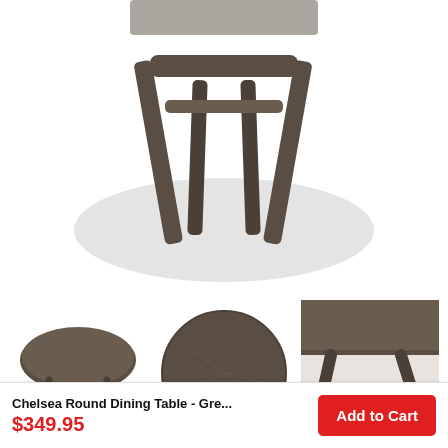[Figure (photo): Close-up photo of the base/legs of a dark grey-brown wooden dining table with a soft shadow ellipse beneath it on a white background.]
[Figure (photo): Three thumbnail photos of the Chelsea Round Dining Table in grey: left shows the full table at an angle, center shows a top-down view of the round tabletop, right shows a side/angle detail of the table leg and edge.]
Other Colours:
Chelsea Round Dining Table - Gre...
$349.95
Add to Cart